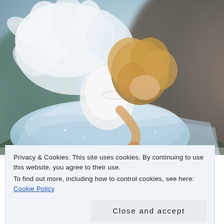[Figure (photo): A young toddler dressed as an angel with white feathered wings and a light blue tutu dress, bending over and holding a white feather, photographed outdoors with a blurred natural background.]
Privacy & Cookies: This site uses cookies. By continuing to use this website, you agree to their use.
To find out more, including how to control cookies, see here:
Cookie Policy
Close and accept
join us every thursday + saturday